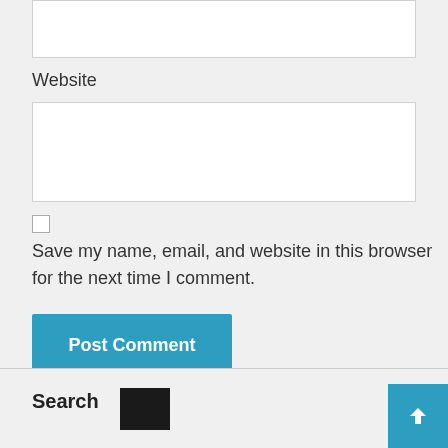Website
Save my name, email, and website in this browser for the next time I comment.
Post Comment
Search